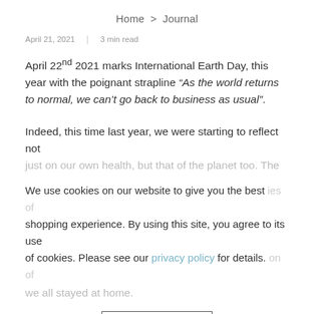Home > Journal
April 21, 2021  |  3 min read
April 22nd 2021 marks International Earth Day, this year with the poignant strapline “As the world returns to normal, we can’t go back to business as usual”.
Indeed, this time last year, we were starting to reflect not just on our own health, but that of the planet too. The
We use cookies on our website to give you the best shopping experience. By using this site, you agree to its use of cookies. Please see our privacy policy for details.
we all stayed at home.
I agree